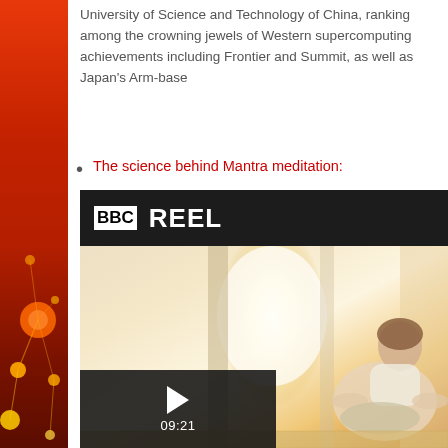University of Science and Technology of China, ranking among the crowning jewels of Western supercomputing achievements including Frontier and Summit, as well as Japan's Arm-base
The science behind Mantra meditation:
[Figure (screenshot): BBC Reel video thumbnail showing a woman meditating in lotus position on a bed with bright sunlight through a window. Video duration 09:21 with play button overlay.]